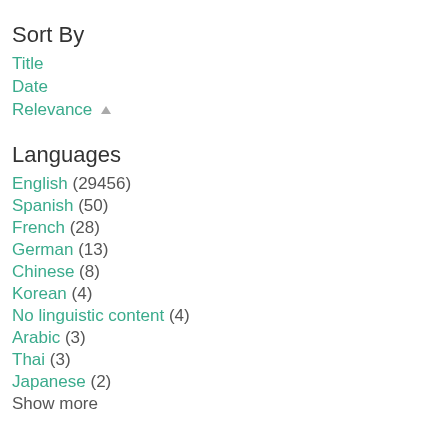Sort By
Title
Date
Relevance ▲
Languages
English (29456)
Spanish (50)
French (28)
German (13)
Chinese (8)
Korean (4)
No linguistic content (4)
Arabic (3)
Thai (3)
Japanese (2)
Show more